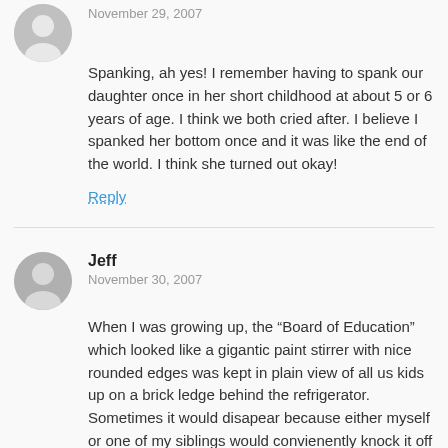November 29, 2007
Spanking, ah yes! I remember having to spank our daughter once in her short childhood at about 5 or 6 years of age. I think we both cried after. I believe I spanked her bottom once and it was like the end of the world. I think she turned out okay!
Reply
Jeff
November 30, 2007
When I was growing up, the “Board of Education” which looked like a gigantic paint stirrer with nice rounded edges was kept in plain view of all us kids up on a brick ledge behind the refrigerator. Sometimes it would disapear because either myself or one of my siblings would convienently knock it off that ledge so it would fall behind the refridgerator and we thought that Dad could not get it. It always reapeared when it was needed! I think I turned out fairly well and I don’t have any emotional or physical scars from the spankings I recieved as a child and I